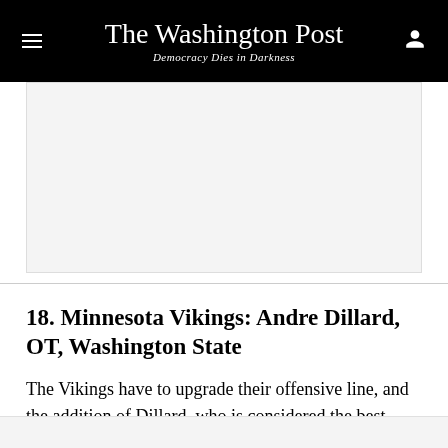The Washington Post — Democracy Dies in Darkness
[Figure (other): Advertisement placeholder — light gray rectangle]
18. Minnesota Vikings: Andre Dillard, OT, Washington State
The Vikings have to upgrade their offensive line, and the addition of Dillard, who is considered the best pass-